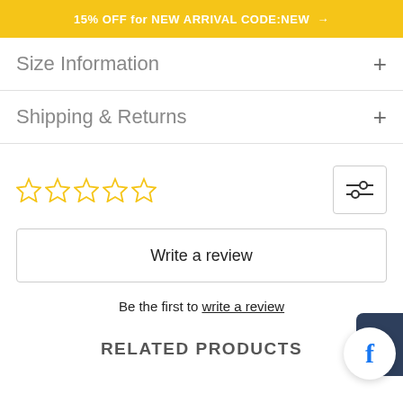15% OFF for NEW ARRIVAL CODE:NEW →
Size Information +
Shipping & Returns +
[Figure (other): Five empty star rating icons in yellow outline style, and a filter/settings icon button]
Write a review
Be the first to write a review
RELATED PRODUCTS
[Figure (other): Facebook social share widget with dark navy tab and white circle containing blue Facebook 'f' logo]